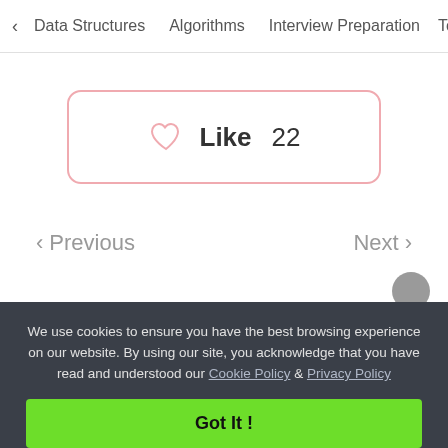< Data Structures   Algorithms   Interview Preparation   To>
[Figure (other): Like button with heart icon showing count 22, pink border, rounded rectangle]
< Previous
Next >
We use cookies to ensure you have the best browsing experience on our website. By using our site, you acknowledge that you have read and understood our Cookie Policy & Privacy Policy
Got It !